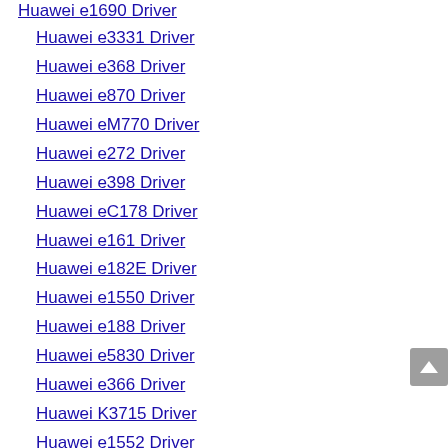Huawei e1690 Driver
Huawei e3331 Driver
Huawei e368 Driver
Huawei e870 Driver
Huawei eM770 Driver
Huawei e272 Driver
Huawei e398 Driver
Huawei eC178 Driver
Huawei e161 Driver
Huawei e182E Driver
Huawei e1550 Driver
Huawei e188 Driver
Huawei e5830 Driver
Huawei e366 Driver
Huawei K3715 Driver
Huawei e1552 Driver
Huawei eC168 Driver